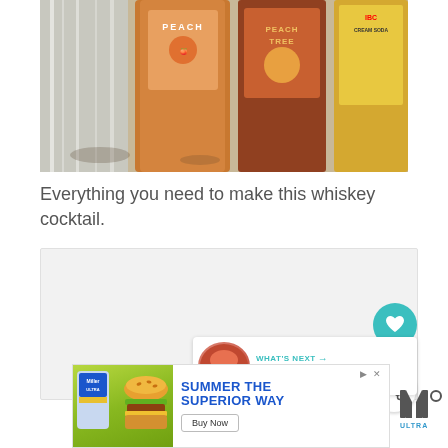[Figure (photo): Photo of whiskey cocktail ingredients: a clear glass, a peach whiskey bottle (labeled PEACH), a Peachtree bottle, and an IBC Cream Soda can arranged on a marble surface.]
Everything you need to make this whiskey cocktail.
[Figure (photo): Main recipe image area (light gray placeholder box with overlaid UI elements including a heart/like button showing 21.4K likes, a share button, and a 'What's Next' card for Crown Royal Flush Drink).]
[Figure (screenshot): Advertisement banner: Miller Ultra beer ad with 'SUMMER THE SUPERIOR WAY' text and a Buy Now button, alongside a burger image on a green background.]